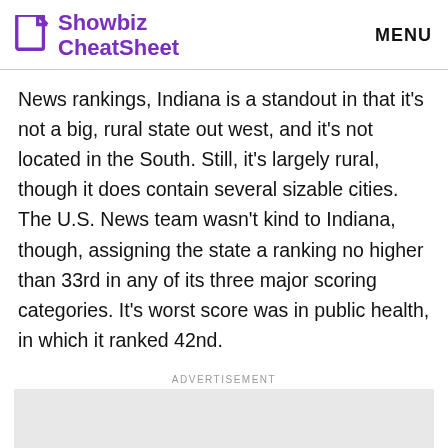Showbiz CheatSheet | MENU
News rankings, Indiana is a standout in that it's not a big, rural state out west, and it's not located in the South. Still, it's largely rural, though it does contain several sizable cities. The U.S. News team wasn't kind to Indiana, though, assigning the state a ranking no higher than 33rd in any of its three major scoring categories. It's worst score was in public health, in which it ranked 42nd.
ADVERTISEMENT